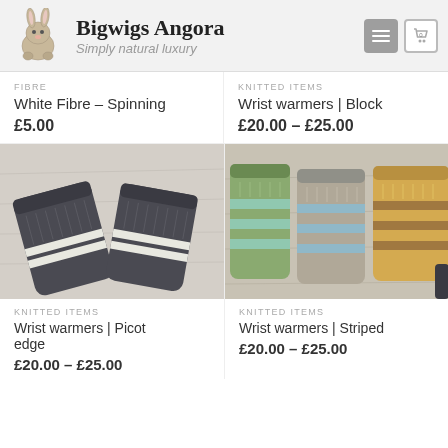Bigwigs Angora — Simply natural luxury
FIBRE
White Fibre – Spinning
£5.00
KNITTED ITEMS
Wrist warmers | Block
£20.00 – £25.00
[Figure (photo): Dark grey/charcoal knitted wrist warmers with white stripe pattern, laid flat on a wooden surface]
KNITTED ITEMS
Wrist warmers | Picot edge
£20.00 – £25.00
[Figure (photo): Three pairs of striped knitted wrist warmers in green/blue, grey/blue, and yellow/brown colors, displayed on a wooden surface]
KNITTED ITEMS
Wrist warmers | Striped
£20.00 – £25.00